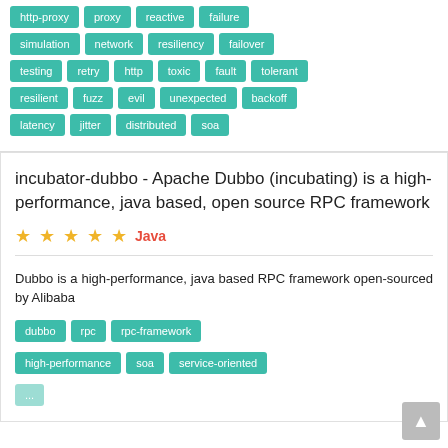http-proxy
proxy
reactive
failure
simulation
network
resiliency
failover
testing
retry
http
toxic
fault
tolerant
resilient
fuzz
evil
unexpected
backoff
latency
jitter
distributed
soa
incubator-dubbo - Apache Dubbo (incubating) is a high-performance, java based, open source RPC framework
Java
Dubbo is a high-performance, java based RPC framework open-sourced by Alibaba
dubbo
rpc
rpc-framework
high-performance
soa
service-oriented